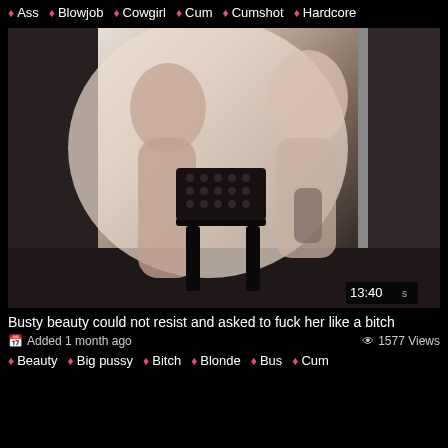Ass  Blowjob  Cowgirl  Cum  Cumshot  Hardcore
[Figure (photo): Video thumbnail showing two people in an intimate scene, with a black chair visible and a timestamp overlay reading 13:40]
Busty beauty could not resist and asked to fuck her like a bitch
Added 1 month ago   1577 Views
Beauty  Big pussy  Bitch  Blonde  Bus  Cum